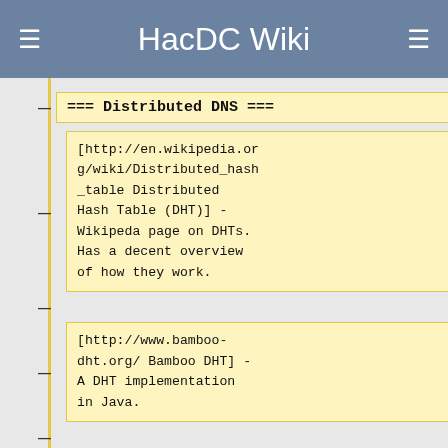HacDC Wiki
=== Distributed DNS ===
[http://en.wikipedia.org/wiki/Distributed_hash_table Distributed Hash Table (DHT)] - Wikipeda page on DHTs. Has a decent overview of how they work.
[http://www.bamboo-dht.org/ Bamboo DHT] - A DHT implementation in Java.
[http://code.google.com/p/upright/ UpRight] -